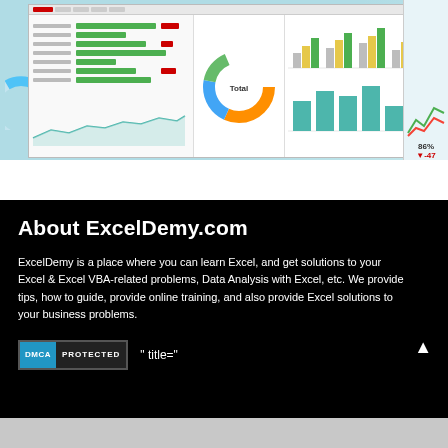[Figure (screenshot): Screenshot of an Excel dashboard with charts, bar graphs, donut chart, and data tables on a light blue-green background]
About ExcelDemy.com
ExcelDemy is a place where you can learn Excel, and get solutions to your Excel & Excel VBA-related problems, Data Analysis with Excel, etc. We provide tips, how to guide, provide online training, and also provide Excel solutions to your business problems.
[Figure (logo): DMCA PROTECTED badge]
" title="